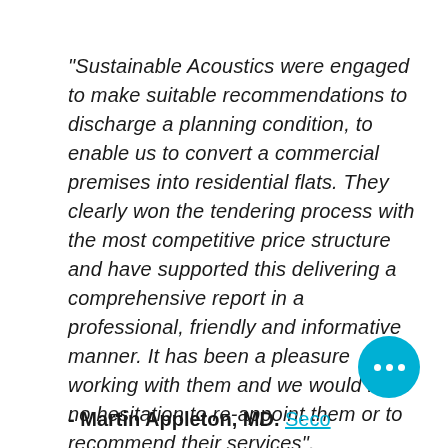"Sustainable Acoustics were engaged to make suitable recommendations to discharge a planning condition, to enable us to convert a commercial premises into residential flats. They clearly won the tendering process with the most competitive price structure and have supported this delivering a comprehensive report in a professional, friendly and informative manner. It has been a pleasure working with them and we would have no hesitation to re-appoint them or to recommend their services".
- Martin Appleton, MD. Seco